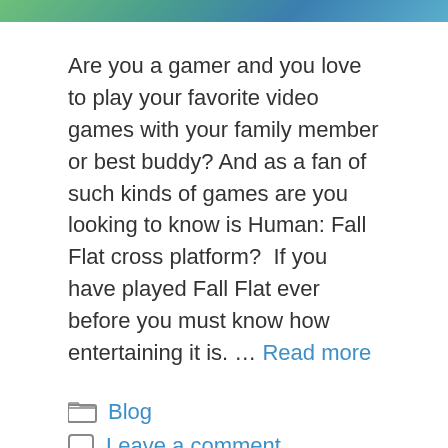[Figure (photo): Top strip showing a video game screenshot with green and blue tones]
Are you a gamer and you love to play your favorite video games with your family member or best buddy? And as a fan of such kinds of games are you looking to know is Human: Fall Flat cross platform?  If you have played Fall Flat ever before you must know how entertaining it is. … Read more
Blog
Leave a comment
Top 6 Apps Like GetUpside (Similar Gas Cash Back…